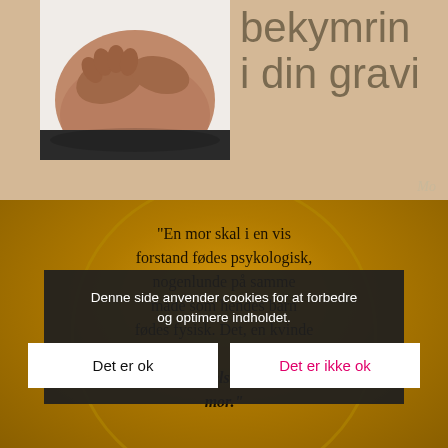[Figure (photo): Pregnant woman's belly with hands resting on it, wearing dark clothing, shown against a light background. Image is cropped and partially visible.]
bekymrin i din gravi
Mo
[Figure (infographic): Golden/amber colored background with a large circular decoration. Contains a quote in Danish text about motherhood.]
"En mor skal i en vis forstand fødes psykologisk, nogenlunde på samme måde som hendes barn fødes fysisk. Det, en kvinde ... identitet: følelsen af at blive mor."
Denne side anvender cookies for at forbedre og optimere indholdet.
Det er ok
Det er ikke ok